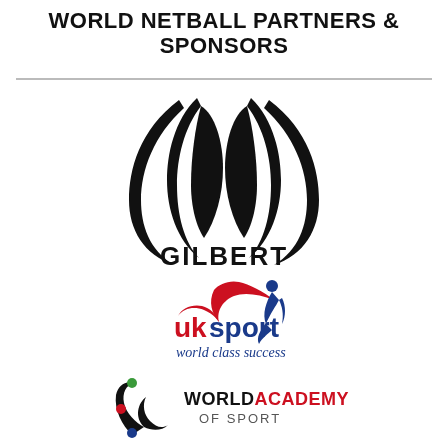WORLD NETBALL PARTNERS & SPONSORS
[Figure (logo): Gilbert logo — stylized netball seam swoosh design in black with the word GILBERT in bold black capitals beneath]
[Figure (logo): UK Sport logo — red swooping figure and blue athlete figure with 'uk sport' in red/blue lowercase and 'world class success' tagline in blue italic]
[Figure (logo): World Academy of Sport logo — black swoosh athlete figure with green, red and blue dots and bold text WORLD ACADEMY OF SPORT]